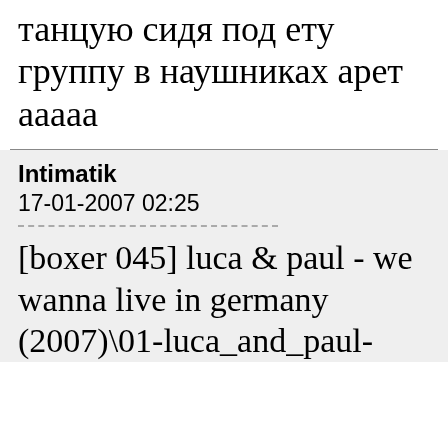танцую сидя под ету группу в наушниках арет ааааа
Intimatik
17-01-2007 02:25
[boxer 045] luca & paul - we wanna live in germany (2007)\01-luca_and_paul-